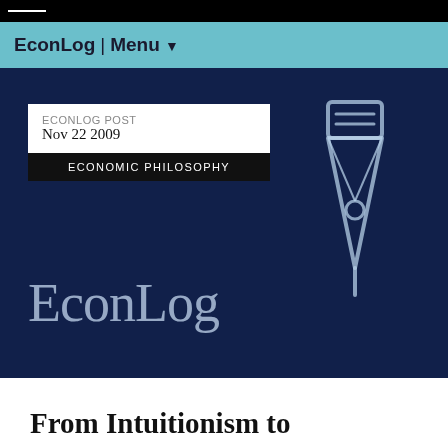EconLog | Menu
[Figure (screenshot): EconLog hero banner with dark navy background showing 'ECONLOG POST Nov 22 2009' metadata box, 'ECONOMIC PHILOSOPHY' category label, 'EconLog' logo in light blue serif font, and a pen nib icon outline in light blue on the right.]
From Intuitionism to